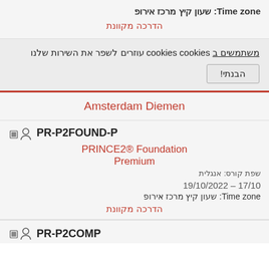Time zone: שעון קיץ מרכז אירופ
הדרכה מקוונת
משתמשים ב cookies cookies עוזרים לשפר את השירות שלנו
הבנתי!
Amsterdam Diemen
PR-P2FOUND-P
PRINCE2® Foundation Premium
שפת קורס: אנגלית
17/10 – 19/10/2022
Time zone: שעון קיץ מרכז אירופ
הדרכה מקוונת
PR-P2COMP